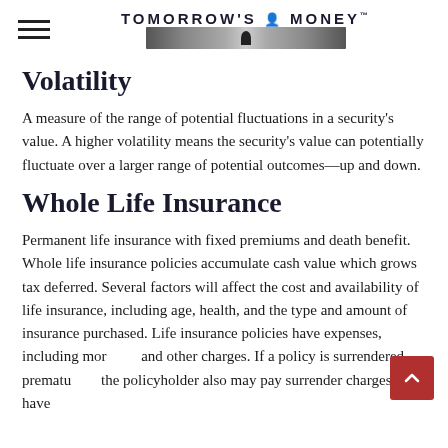TOMORROW'S MONEY™
Volatility
A measure of the range of potential fluctuations in a security's value. A higher volatility means the security's value can potentially fluctuate over a larger range of potential outcomes—up and down.
Whole Life Insurance
Permanent life insurance with fixed premiums and death benefit. Whole life insurance policies accumulate cash value which grows tax deferred. Several factors will affect the cost and availability of life insurance, including age, health, and the type and amount of insurance purchased. Life insurance policies have expenses, including mortality and other charges. If a policy is surrendered prematurely, the policyholder also may pay surrender charges and have